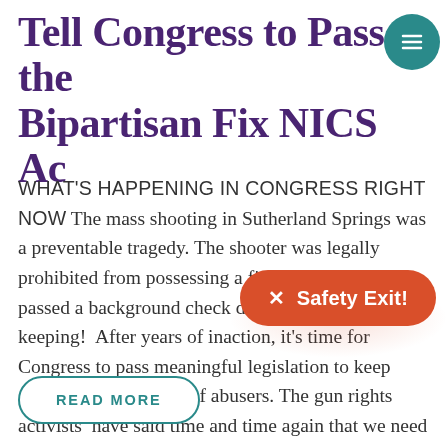Tell Congress to Pass the Bipartisan Fix NICS Ac
WHAT'S HAPPENING IN CONGRESS RIGHT NOW The mass shooting in Sutherland Springs was a preventable tragedy. The shooter was legally prohibited from possessing a firearm, but he still passed a background check due to poor record keeping!  After years of inaction, it's time for Congress to pass meaningful legislation to keep guns out of the hands of abusers. The gun rights activists  have said time and time again that we need to fix the Criminal Back...